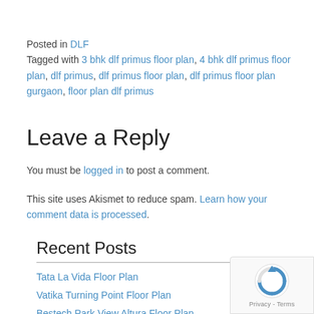Posted in DLF
Tagged with 3 bhk dlf primus floor plan, 4 bhk dlf primus floor plan, dlf primus, dlf primus floor plan, dlf primus floor plan gurgaon, floor plan dlf primus
Leave a Reply
You must be logged in to post a comment.
This site uses Akismet to reduce spam. Learn how your comment data is processed.
Recent Posts
Tata La Vida Floor Plan
Vatika Turning Point Floor Plan
Bestech Park View Altura Floor Plan